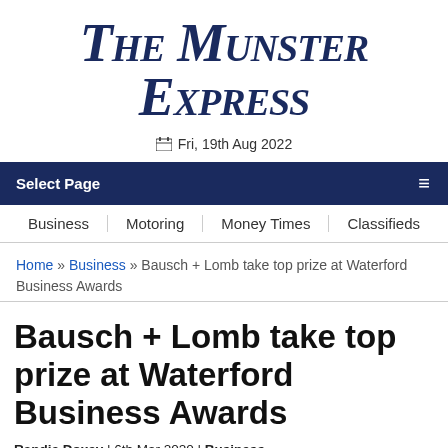The Munster Express
Fri, 19th Aug 2022
Select Page
Business | Motoring | Money Times | Classifieds
Home » Business » Bausch + Lomb take top prize at Waterford Business Awards
Bausch + Lomb take top prize at Waterford Business Awards
Randie Doxey | 6th Mar 2020 | Business